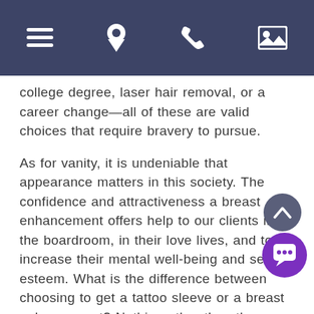[Navigation bar with menu, location, phone, and gallery icons]
college degree, laser hair removal, or a career change—all of these are valid choices that require bravery to pursue.
As for vanity, it is undeniable that appearance matters in this society. The confidence and attractiveness a breast enhancement offers help to our clients in the boardroom, in their love lives, and to increase their mental well-being and self-esteem. What is the difference between choosing to get a tattoo sleeve or a breast enhancement? Nothing other than the procedures themselves. Both are